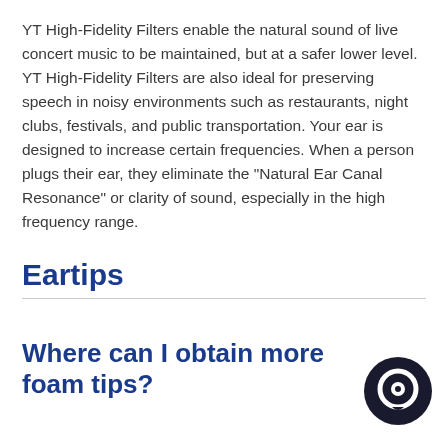YT High-Fidelity Filters enable the natural sound of live concert music to be maintained, but at a safer lower level. YT High-Fidelity Filters are also ideal for preserving speech in noisy environments such as restaurants, night clubs, festivals, and public transportation. Your ear is designed to increase certain frequencies. When a person plugs their ear, they eliminate the "Natural Ear Canal Resonance" or clarity of sound, especially in the high frequency range.
Eartips
Where can I obtain more foam tips?